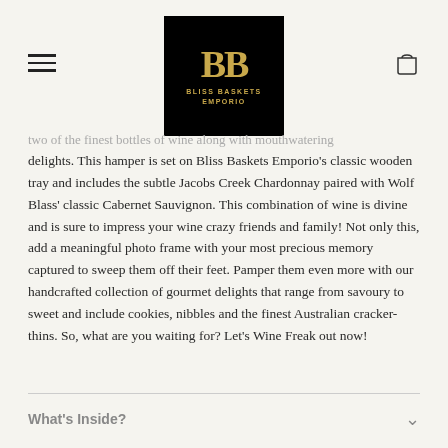Bliss Baskets Emporio logo with hamburger menu and cart icon
two of the finest bottles of wine along with mouthwatering delights. This hamper is set on Bliss Baskets Emporio's classic wooden tray and includes the subtle Jacobs Creek Chardonnay paired with Wolf Blass' classic Cabernet Sauvignon. This combination of wine is divine and is sure to impress your wine crazy friends and family! Not only this, add a meaningful photo frame with your most precious memory captured to sweep them off their feet. Pamper them even more with our handcrafted collection of gourmet delights that range from savoury to sweet and include cookies, nibbles and the finest Australian cracker-thins. So, what are you waiting for? Let's Wine Freak out now!
What's Inside?